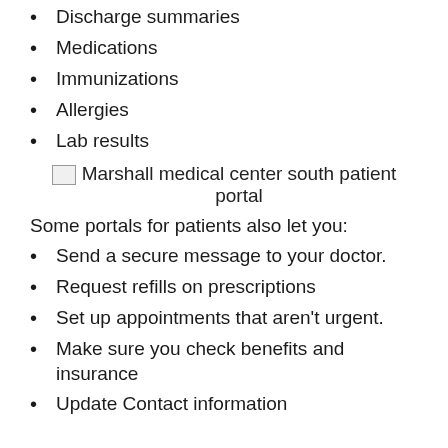Discharge summaries
Medications
Immunizations
Allergies
Lab results
[Figure (photo): Broken image placeholder for Marshall medical center south patient portal]
Marshall medical center south patient portal
Some portals for patients also let you:
Send a secure message to your doctor.
Request refills on prescriptions
Set up appointments that aren't urgent.
Make sure you check benefits and insurance
Update Contact information